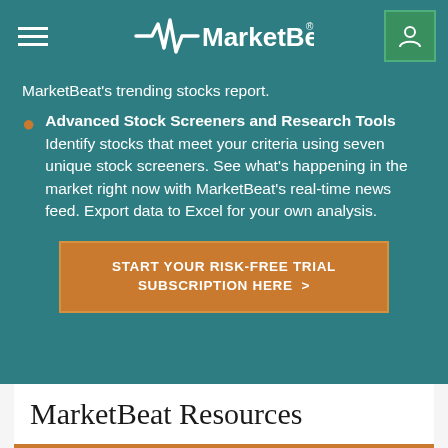MarketBeat
MarketBeat’s trending stocks report.
Advanced Stock Screeners and Research Tools
Identify stocks that meet your criteria using seven unique stock screeners. See what’s happening in the market right now with MarketBeat’s real-time news feed. Export data to Excel for your own analysis.
START YOUR RISK-FREE TRIAL SUBSCRIPTION HERE >
MarketBeat Resources